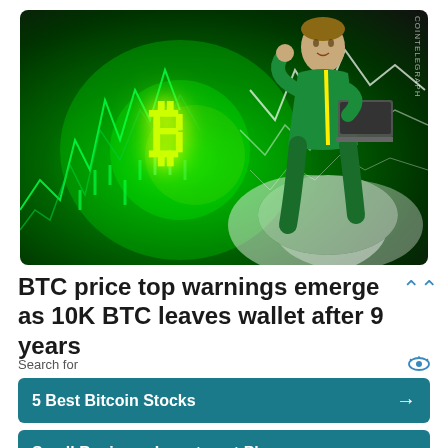[Figure (illustration): Illustrated hero image showing a figure in green holding a laptop with the Bitcoin (BTC) logo glowing in yellow-green, surrounded by green stock chart lines on a dark green background, with a white cloud at lower right and a CoinTelegraph watermark.]
BTC price top warnings emerge as 10K BTC leaves wallet after 9 years
Search for
5 Best Bitcoin Stocks
Small Business Investment Plan
Yahoo! Search | Sponsored